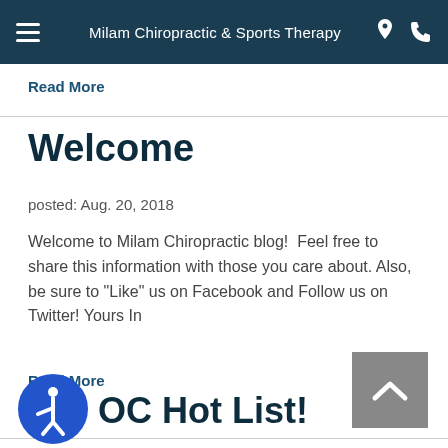Milam Chiropractic & Sports Therapy
Read More
Welcome
posted: Aug. 20, 2018
Welcome to Milam Chiropractic blog!  Feel free to share this information with those you care about. Also, be sure to "Like" us on Facebook and Follow us on Twitter! Yours In
Read More
OC Hot List!